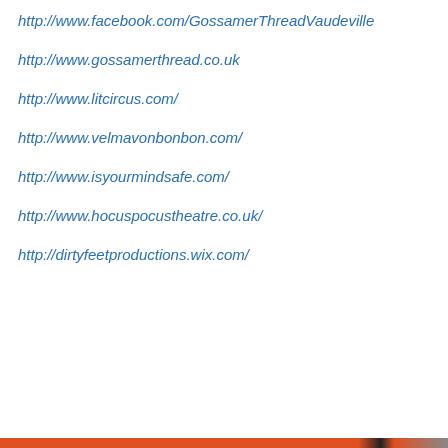http://www.facebook.com/GossamerThreadVaudeville
http://www.gossamerthread.co.uk
http://www.litcircus.com/
http://www.velmavonbonbon.com/
http://www.isyourmindsafe.com/
http://www.hocuspocustheatre.co.uk/
http://dirtyfeetproductions.wix.com/
Privacy & Cookies: This site uses cookies. By continuing to use this website, you agree to their use.
To find out more, including how to control cookies, see here: Cookie Policy